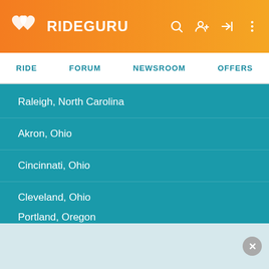RIDEGURU — RIDE | FORUM | NEWSROOM | OFFERS
Raleigh, North Carolina
Akron, Ohio
Cincinnati, Ohio
Cleveland, Ohio
Columbus, Ohio
Dayton, Ohio
Oklahoma City, Oklahoma
Tulsa, Oklahoma
Portland, Oregon